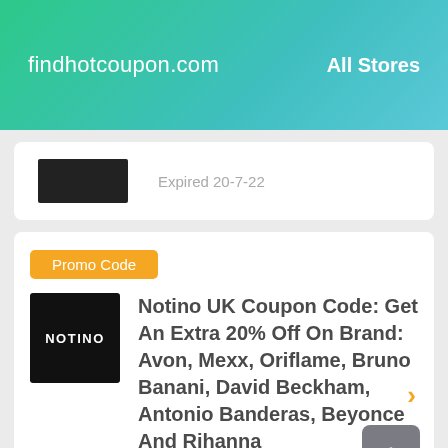findhotcoupon.com    All Stores
Expired 20-7-22
Promo Code
Notino UK Coupon Code: Get An Extra 20% Off On Brand: Avon, Mexx, Oriflame, Bruno Banani, David Beckham, Antonio Banderas, Beyonce And Rihanna
Expired 9-5-22